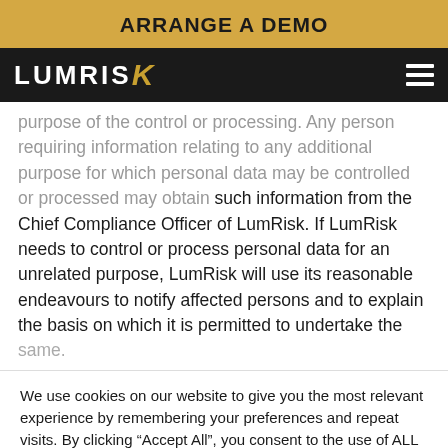ARRANGE A DEMO
purpose of the control or processing. Any person requiring information relating to any additional purpose for which personal data may be controlled or processed may obtain such information from the Chief Compliance Officer of LumRisk. If LumRisk needs to control or process personal data for an unrelated purpose, LumRisk will use its reasonable endeavours to notify affected persons and to explain the basis on which it is permitted to undertake the same.
We use cookies on our website to give you the most relevant experience by remembering your preferences and repeat visits. By clicking “Accept All”, you consent to the use of ALL the cookies. However, you may visit "Cookie Settings" to provide a controlled consent.